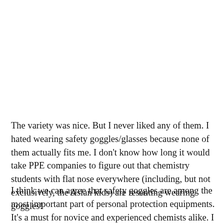The variety was nice. But I never liked any of them. I hated wearing safety goggles/glasses because none of them actually fits me. I don't know how long it would take PPE companies to figure out that chemistry students with flat nose everywhere (including, but not exclusively, the Asian kids) are resenting wearing goggles!
I think we can agree that safety goggles are among the most important part of personal protection equipments. It's a must for novice and experienced chemists alike. I would think that fit and comfort are significant factors in designing these because of their